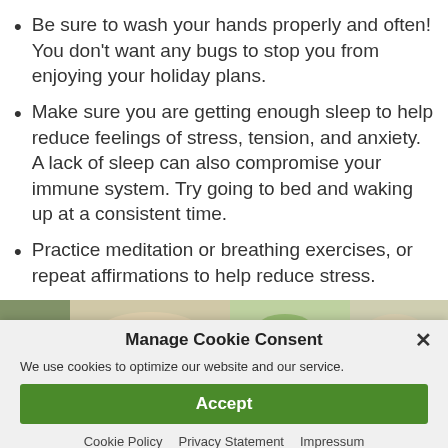Be sure to wash your hands properly and often! You don't want any bugs to stop you from enjoying your holiday plans.
Make sure you are getting enough sleep to help reduce feelings of stress, tension, and anxiety. A lack of sleep can also compromise your immune system. Try going to bed and waking up at a consistent time.
Practice meditation or breathing exercises, or repeat affirmations to help reduce stress.
[Figure (photo): Partial image strip showing hands, herbs, and natural wellness items]
Manage Cookie Consent
We use cookies to optimize our website and our service.
Accept
Cookie Policy  Privacy Statement  Impressum